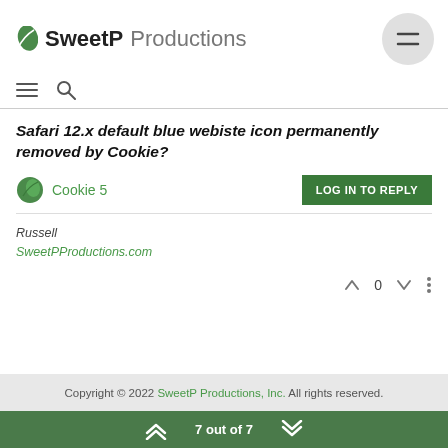SweetP Productions
Safari 12.x default blue webiste icon permanently removed by Cookie?
Cookie 5
LOG IN TO REPLY
Russell
SweetPProductions.com
0
Copyright © 2022 SweetP Productions, Inc. All rights reserved.
7 out of 7